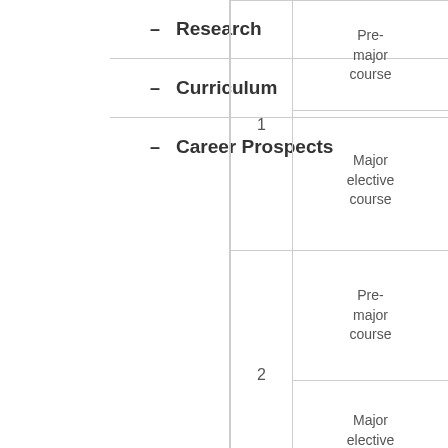– Research
– Curriculum
– Career Prospects
|  |  |
| --- | --- |
| 1 | Pre-major course |
|  | Major elective course |
| 2 | Pre-major course |
|  | Major elective course |
| 3 | Pre-major course |
|  | Major... |